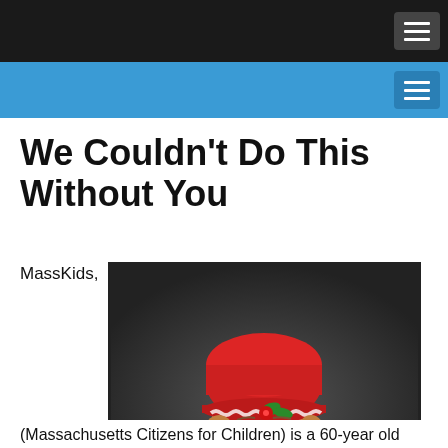We Couldn't Do This Without You
MassKids,
[Figure (photo): Portrait photo of a young smiling girl wearing a red crocheted hat with green and white flower decoration, and a pink floral top, against a dark grey background.]
(Massachusetts Citizens for Children) is a 60-year old